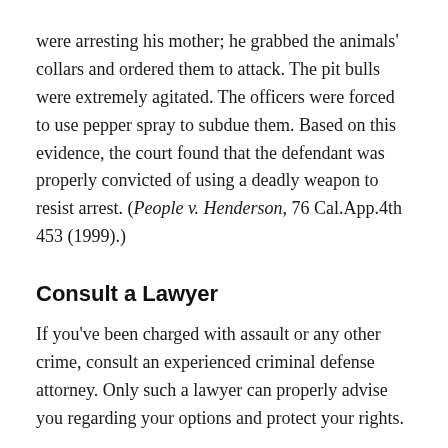were arresting his mother; he grabbed the animals' collars and ordered them to attack. The pit bulls were extremely agitated. The officers were forced to use pepper spray to subdue them. Based on this evidence, the court found that the defendant was properly convicted of using a deadly weapon to resist arrest. (People v. Henderson, 76 Cal.App.4th 453 (1999).)
Consult a Lawyer
If you've been charged with assault or any other crime, consult an experienced criminal defense attorney. Only such a lawyer can properly advise you regarding your options and protect your rights.